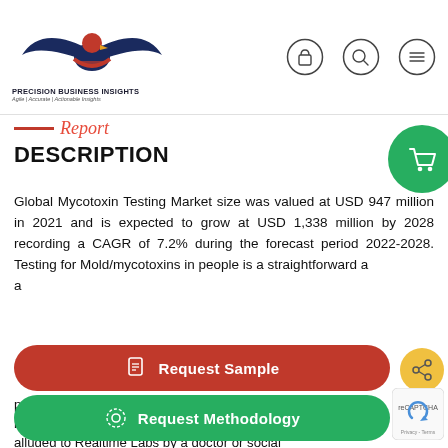[Figure (logo): Precision Business Insights logo — eagle with handshake, navy and red colors]
PRECISION BUSINESS INSIGHTS
Agile | Accurate | Actionable Insights
[Figure (other): Navigation icons: shopping bag, search, and hamburger menu in circles]
— Report
DESCRIPTION
Global Mycotoxin Testing Market size was valued at USD 947 million in 2021 and is expected to grow at USD 1,338 million by 2028 recording a CAGR of 7.2% during the forecast period 2022-2028. Testing for Mold/mycotoxins in people is a straightforward a... a... possible on nasal emissions, sputum, or ti... b... alluded to Realtime Labs by a doctor or social
[Figure (other): Red Request Sample button with document icon, and yellow share icon]
[Figure (other): Green Request Methodology button with settings icon, and reCAPTCHA badge]